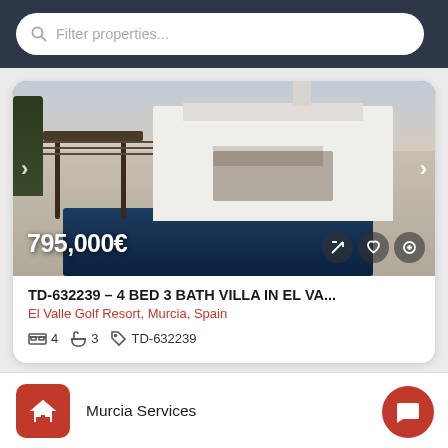Filter properties...
[Figure (photo): Exterior photo of a white Mediterranean-style villa with swimming pool, pergola, and terrace at dusk. Price overlay shows 795,000€ with navigation arrows and action icon buttons.]
TD-632239 – 4 BED 3 BATH VILLA IN EL VA...
El Valle Golf Resort, Murcia, Spain
4   3   TD-632239
Murcia Services